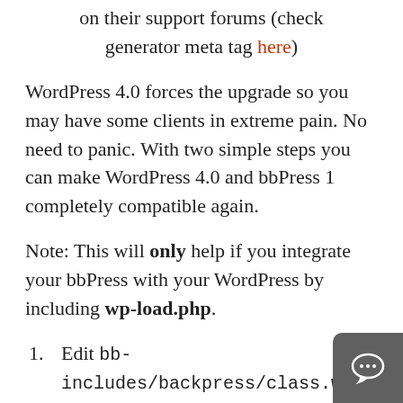on their support forums (check generator meta tag here)
WordPress 4.0 forces the upgrade so you may have some clients in extreme pain. No need to panic. With two simple steps you can make WordPress 4.0 and bbPress 1 completely compatible again.
Note: This will only help if you integrate your bbPress with your WordPress by including wp-load.php.
Edit bb-includes/backpress/class.wp-auth.php – add following code right at start of the validate_auth_cookie() function of the WP_Auth class (find function